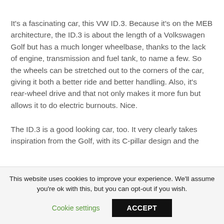It's a fascinating car, this VW ID.3. Because it's on the MEB architecture, the ID.3 is about the length of a Volkswagen Golf but has a much longer wheelbase, thanks to the lack of engine, transmission and fuel tank, to name a few. So the wheels can be stretched out to the corners of the car, giving it both a better ride and better handling. Also, it's rear-wheel drive and that not only makes it more fun but allows it to do electric burnouts. Nice.
The ID.3 is a good looking car, too. It very clearly takes inspiration from the Golf, with its C-pillar design and the
This website uses cookies to improve your experience. We'll assume you're ok with this, but you can opt-out if you wish.
Cookie settings
ACCEPT